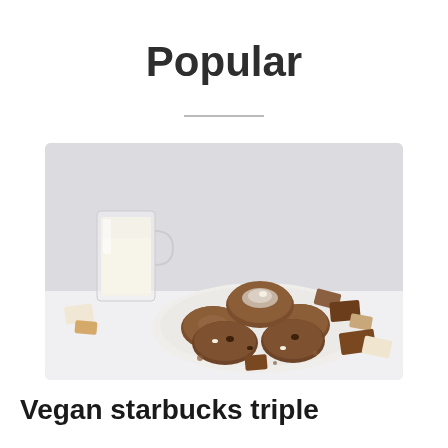Popular
[Figure (photo): A plate of chocolate cookies with powdered sugar on top, surrounded by pieces of milk chocolate and white chocolate on a white surface, with a glass of milk in the background.]
Vegan starbucks triple